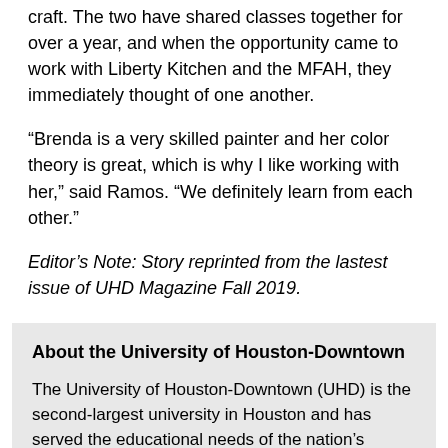craft.  The two have shared classes together for  over a year, and when the opportunity  came to work with Liberty Kitchen and the MFAH, they immediately thought of one another.
“Brenda is a very skilled painter and her color theory is great, which is why I like working with her,” said Ramos. “We definitely learn from each other.”
Editor’s Note: Story reprinted from the lastest issue of UHD Magazine Fall 2019.
About the University of Houston-Downtown
The University of Houston-Downtown (UHD) is the second-largest university in Houston and has served the educational needs of the nation’s fourth-largest city since 1974.
As one of four distinct public universities in the University of Houston System, UHD is